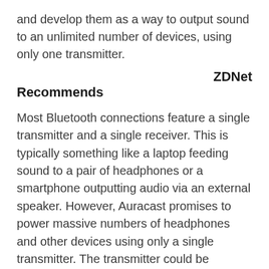and develop them as a way to output sound to an unlimited number of devices, using only one transmitter.
ZDNet Recommends
Most Bluetooth connections feature a single transmitter and a single receiver. This is typically something like a laptop feeding sound to a pair of headphones or a smartphone outputting audio via an external speaker. However, Auracast promises to power massive numbers of headphones and other devices using only a single transmitter. The transmitter could be something as complex as a public